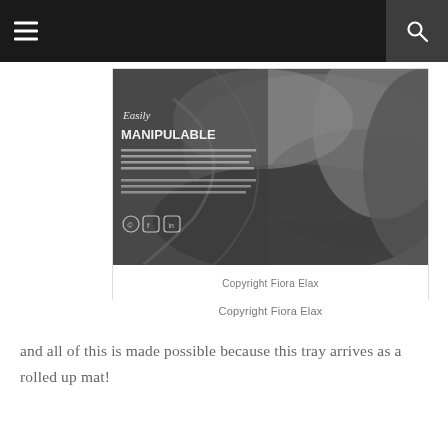≡  🔍
[Figure (photo): Black and white photograph of folded flexible flax material resembling fabric, with text overlay reading 'Easily MANIPULABLE' and small body text below it, along with social media icons at the bottom left.]
Copyright Fiora Elax
and all of this is made possible because this tray arrives as a rolled up mat!